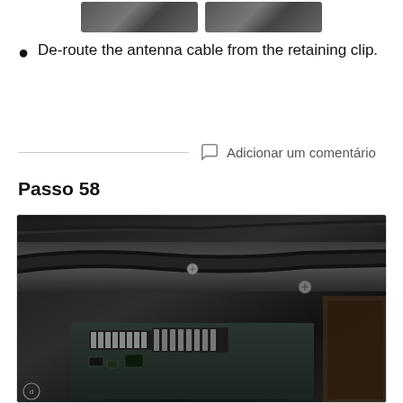[Figure (photo): Two small photos of laptop internal components at the top of the page]
De-route the antenna cable from the retaining clip.
Adicionar um comentário
Passo 58
[Figure (photo): Close-up photo of laptop internal components showing antenna cables routed across the top of the chassis, circuit board with connectors visible at the bottom]